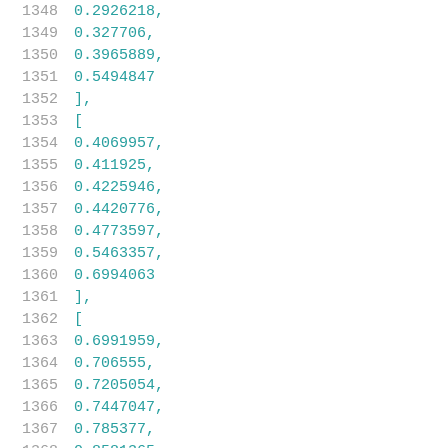1348    0.2926218,
1349    0.327706,
1350    0.3965889,
1351    0.5494847
1352  ],
1353  [
1354    0.4069957,
1355    0.411925,
1356    0.4225946,
1357    0.4420776,
1358    0.4773597,
1359    0.5463357,
1360    0.6994063
1361  ],
1362  [
1363    0.6991959,
1364    0.706555,
1365    0.7205054,
1366    0.7447047,
1367    0.785377,
1368    0.8581365,